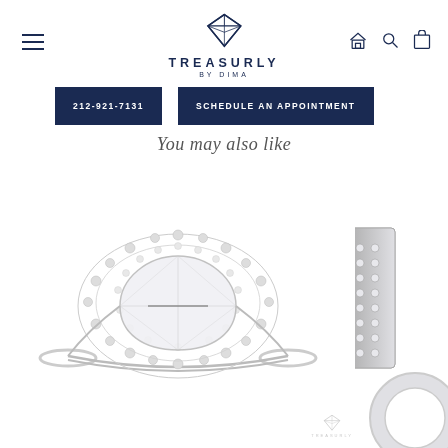TREASURLY BY DIMA — Navigation header with logo, hamburger menu, home, search, cart icons
212-921-7131
SCHEDULE AN APPOINTMENT
You may also like
[Figure (photo): Pear-shaped diamond halo engagement ring viewed from above, white gold setting with pave diamonds around the halo and band]
[Figure (photo): Partial view of a diamond-encrusted band or bracelet, cropped at right edge]
[Figure (logo): Treasurly by Dima watermark logo at bottom right]